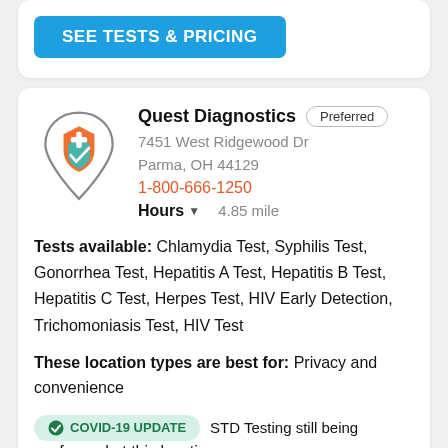[Figure (other): Blue button labeled SEE TESTS & PRICING]
[Figure (logo): Quest Diagnostics map pin logo with orange shield and teal checkmark]
Quest Diagnostics  Preferred
7451 West Ridgewood Dr
Parma, OH 44129
1-800-666-1250
Hours  4.85 mile
Tests available: Chlamydia Test, Syphilis Test, Gonorrhea Test, Hepatitis A Test, Hepatitis B Test, Hepatitis C Test, Herpes Test, HIV Early Detection, Trichomoniasis Test, HIV Test
These location types are best for: Privacy and convenience
COVID-19 UPDATE  STD Testing still being performed at this location